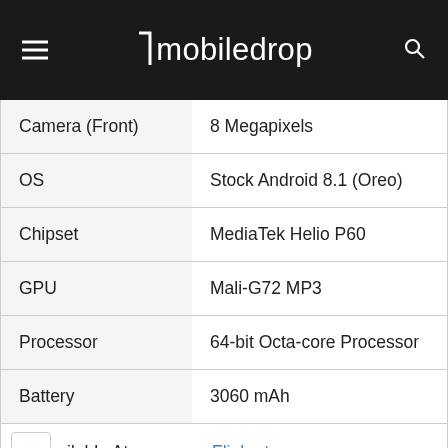mobiledrop
| Spec | Value |
| --- | --- |
| Camera (Front) | 8 Megapixels |
| OS | Stock Android 8.1 (Oreo) |
| Chipset | MediaTek Helio P60 |
| GPU | Mali-G72 MP3 |
| Processor | 64-bit Octa-core Processor |
| Battery | 3060 mAh |
| Available At. | Flipkart |
Treat yourself with some froyo sweetFrog